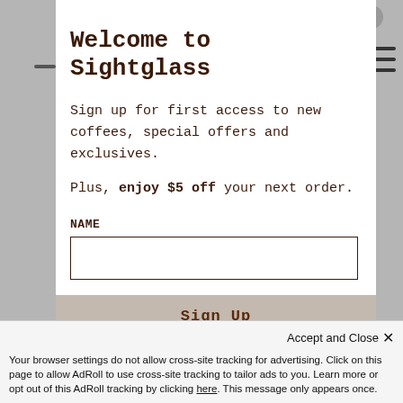Welcome to Sightglass
Sign up for first access to new coffees, special offers and exclusives.
Plus, enjoy $5 off your next order.
NAME
EMAIL
Sign Up
Accept and Close ×
Your browser settings do not allow cross-site tracking for advertising. Click on this page to allow AdRoll to use cross-site tracking to tailor ads to you. Learn more or opt out of this AdRoll tracking by clicking here. This message only appears once.